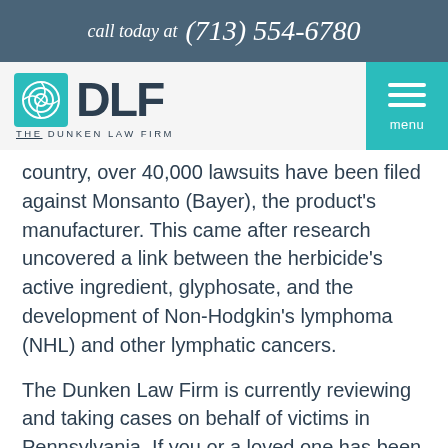call today at (713) 554-6780
[Figure (logo): The Dunken Law Firm logo with teal icon and DLF text, alongside teal menu button]
country, over 40,000 lawsuits have been filed against Monsanto (Bayer), the product's manufacturer. This came after research uncovered a link between the herbicide's active ingredient, glyphosate, and the development of Non-Hodgkin's lymphoma (NHL) and other lymphatic cancers.
The Dunken Law Firm is currently reviewing and taking cases on behalf of victims in Pennsylvania. If you or a loved one has been exposed to RoundUp, then subsequently diagnosed with NHL or another cancer, you may be entitled to